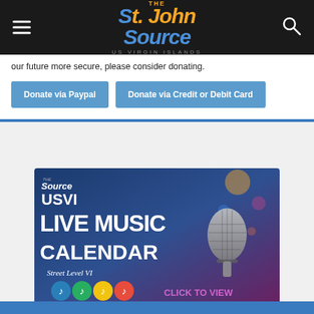The St. John Source - US Virgin Islands
our future more secure, please consider donating.
Donate via Paypal
Donate via Credit or Debit Card
[Figure (infographic): USVI Live Music Calendar advertisement by The Source / Street Level VI, featuring a microphone image on a colorful background with text 'USVI LIVE MUSIC CALENDAR' and 'CLICK TO VIEW', with colored dancer icons at the bottom.]